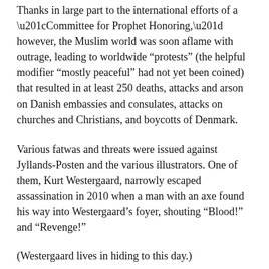Thanks in large part to the international efforts of a “Committee for Prophet Honoring,” however, the Muslim world was soon aflame with outrage, leading to worldwide “protests” (the helpful modifier “mostly peaceful” had not yet been coined) that resulted in at least 250 deaths, attacks and arson on Danish embassies and consulates, attacks on churches and Christians, and boycotts of Denmark.
Various fatwas and threats were issued against Jyllands-Posten and the various illustrators. One of them, Kurt Westergaard, narrowly escaped assassination in 2010 when a man with an axe found his way into Westergaard’s foyer, shouting “Blood!” and “Revenge!”
(Westergaard lives in hiding to this day.)